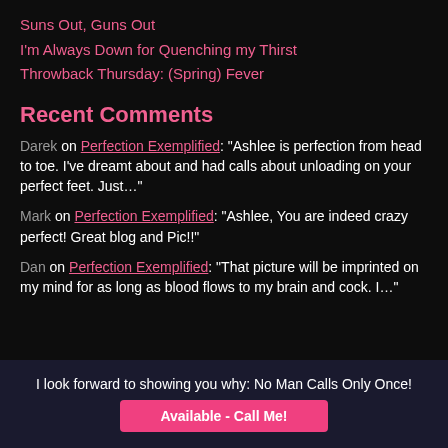Suns Out, Guns Out
I'm Always Down for Quenching my Thirst
Throwback Thursday: (Spring) Fever
Recent Comments
Darek on Perfection Exemplified: "Ashlee is perfection from head to toe. I've dreamt about and had calls about unloading on your perfect feet. Just…"
Mark on Perfection Exemplified: "Ashlee, You are indeed crazy perfect! Great blog and Pic!!"
Dan on Perfection Exemplified: "That picture will be imprinted on my mind for as long as blood flows to my brain and cock. I…"
I look forward to showing you why: No Man Calls Only Once! Available - Call Me!